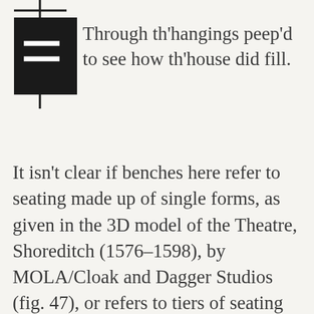[Figure (illustration): Black square registration/bookmark icon with two white horizontal lines, positioned at top-left with a cross/registration mark overlay]
Through th'hangings peep'd to see how th'house did fill.
It isn't clear if benches here refer to seating made up of single forms, as given in the 3D model of the Theatre, Shoreditch (1576–1598), by MOLA/Cloak and Dagger Studios (fig. 47), or refers to tiers of seating suggested, perhaps, by the illustration of the Swan playhouse, c. 1596 (see fig. 26 [4.4.1]) and given in the illustration by William Dudley (see fig. 15 [4.2.2]).